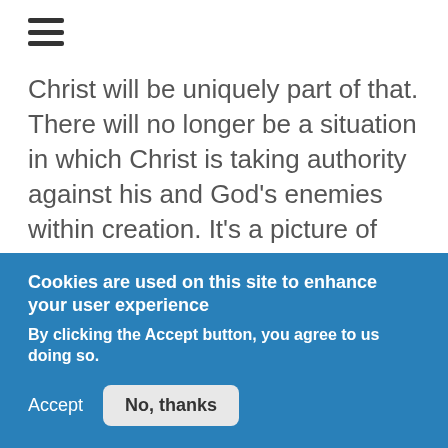≡
Christ will be uniquely part of that. There will no longer be a situation in which Christ is taking authority against his and God's enemies within creation. It's a picture of worldwide harmony under God, rather than a hierarchical reordering of Christ's relationship with God the Father, which violates the sense of Christ's own role in relationship to God prior to this reordering. We need to think in the language of apocalyptic metaphor here, rather than wooden literalism. And apocalyptic as applied
Cookies are used on this site to enhance your user experience
By clicking the Accept button, you agree to us doing so.
Accept   No, thanks